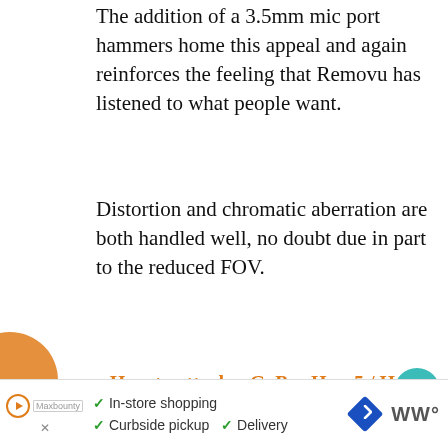The addition of a 3.5mm mic port hammers home this appeal and again reinforces the feeling that Removu has listened to what people want.
Distortion and chromatic aberration are both handled well, no doubt due in part to the reduced FOV.
How to attach a GoPro Hero5 / Hero6 to the Karma Grip
[/nextpage]
[nextpage title="Verdict" ]
Verdict
I am a bit of a gimbal fan – OK a huge gimbal
[Figure (other): Sidebar with heart icon (teal circle), share icon, and number 2]
[Figure (other): What's Next banner with 4K camera icon and text 'Which cameras sh...']
[Figure (other): Advertisement banner with play button, checkmarks for In-store shopping, Curbside pickup, Delivery, and icons on right]